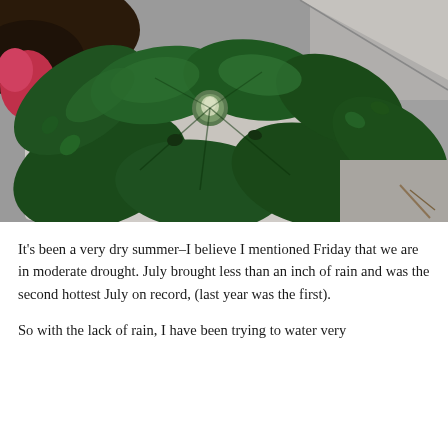[Figure (photo): Overhead view of a green leafy plant with ruffled, lobed leaves in a round white/grey pot, placed on a grey stone surface. A small bud is visible at the center. Red-pink flower or plant visible at the top left edge.]
It's been a very dry summer–I believe I mentioned Friday that we are in moderate drought. July brought less than an inch of rain and was the second hottest July on record, (last year was the first).
So with the lack of rain, I have been trying to water very